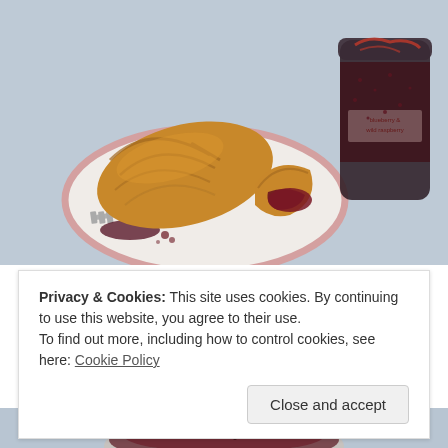[Figure (photo): A croissant on a pink-rimmed white plate with jam spread on a piece, a fork with jam on the plate, and a dark glass jar labeled 'blueberry & wild raspberry' filled with dark berry jam, all on a light blue linen surface.]
Privacy & Cookies: This site uses cookies. By continuing to use this website, you agree to their use.
To find out more, including how to control cookies, see here: Cookie Policy
Close and accept
[Figure (photo): Bottom strip showing a bowl of dark berry jam on a blue surface.]